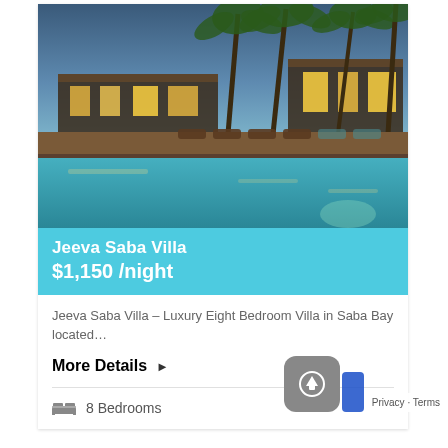[Figure (photo): Luxury villa with pool, palm trees, lounge chairs, and illuminated buildings at dusk]
Jeeva Saba Villa
$1,150 /night
Jeeva Saba Villa – Luxury Eight Bedroom Villa in Saba Bay located…
More Details ▶
8 Bedrooms